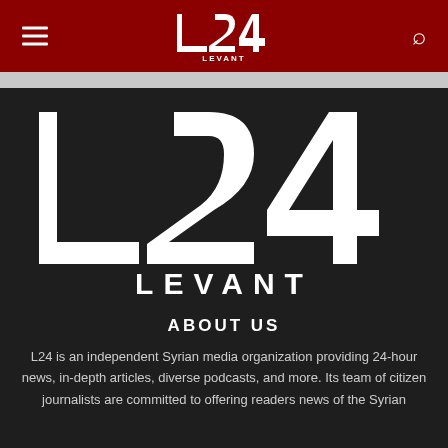L24 LEVANT
[Figure (logo): L24 Levant logo — large white L24 with LEVANT text below on dark background]
ABOUT US
L24 is an independent Syrian media organization providing 24-hour news, in-depth articles, diverse podcasts, and more. Its team of citizen journalists are committed to offering readers news of the Syrian...